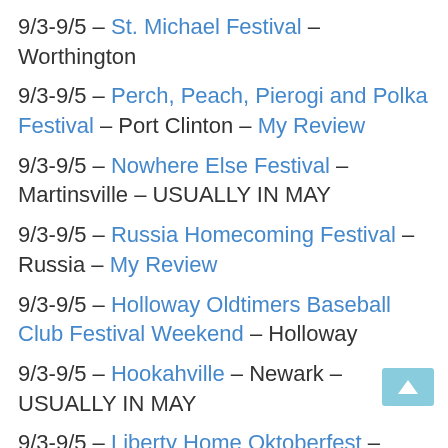9/3-9/5 – St. Michael Festival – Worthington
9/3-9/5 – Perch, Peach, Pierogi and Polka Festival – Port Clinton – My Review
9/3-9/5 – Nowhere Else Festival – Martinsville – USUALLY IN MAY
9/3-9/5 – Russia Homecoming Festival – Russia – My Review
9/3-9/5 – Holloway Oldtimers Baseball Club Festival Weekend – Holloway
9/3-9/5 – Hookahville – Newark – USUALLY IN MAY
9/3-9/5 – Liberty Home Oktoberfest – Hamilton
9/3-9/5 – Cars & Parts Swap Meet and Car Show – Springfield